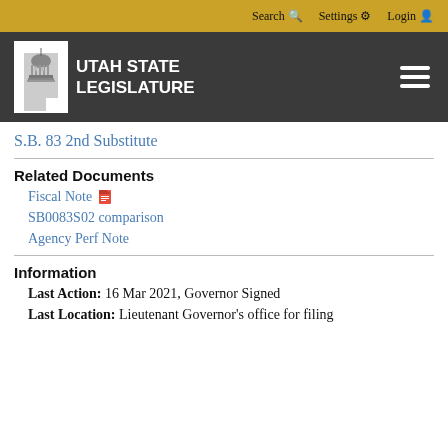Search  Settings  Login
[Figure (logo): Utah State Legislature logo with capitol building icon and white text on dark background]
S.B. 83 2nd Substitute
Related Documents
Fiscal Note
SB0083S02 comparison
Agency Perf Note
Information
Last Action: 16 Mar 2021, Governor Signed
Last Location: Lieutenant Governor's office for filing